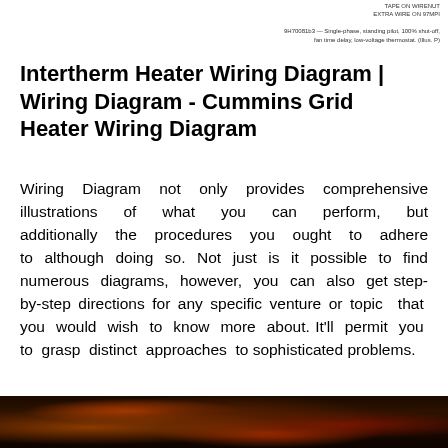TAPE ON WIRENUT
EXTRA WIRE ON 97MPI

9H70081b3 — Single-phase, standing pilot, 100% shut-off, fan time delay, low-voltage thermostat. (Illus. P)
Intertherm Heater Wiring Diagram | Wiring Diagram - Cummins Grid Heater Wiring Diagram
Wiring Diagram not only provides comprehensive illustrations of what you can perform, but additionally the procedures you ought to adhere to although doing so. Not just is it possible to find numerous diagrams, however, you can also get step-by-step directions for any specific venture or topic that you would wish to know more about. It'll permit you to grasp distinct approaches to sophisticated problems.
[Figure (photo): Partial view of wiring/electrical components photograph at bottom of page]